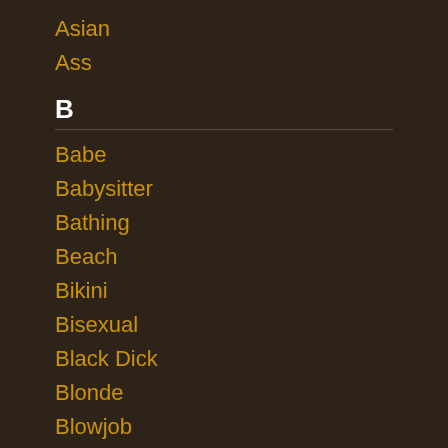Asian
Ass
B
Babe
Babysitter
Bathing
Beach
Bikini
Bisexual
Black Dick
Blonde
Blowjob
Bondage
Boobs